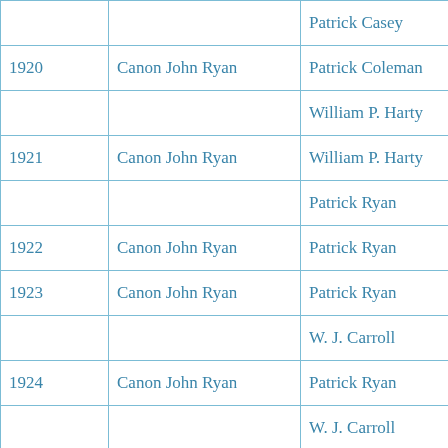|  |  | Patrick Casey |
| 1920 | Canon John Ryan | Patrick Coleman |
|  |  | William P. Harty |
| 1921 | Canon John Ryan | William P. Harty |
|  |  | Patrick Ryan |
| 1922 | Canon John Ryan | Patrick Ryan |
| 1923 | Canon John Ryan | Patrick Ryan |
|  |  | W. J. Carroll |
| 1924 | Canon John Ryan | Patrick Ryan |
|  |  | W. J. Carroll |
| 1925 | Canon John Ryan | W. J. Carroll |
|  |  | Patrick Ruddle |
| 1926 | Canon John Ryan | W. J. Carroll |
|  |  | Patrick Ruddle |
| 1927 | Canon John Ryan | W. J. Carroll |
|  |  | T. Coffey |
| 1928 | Thomas Hogan | W. J. Carroll |
|  |  | T. Coffey |
| 1929 | Thomas Hogan | James Kelly |
|  |  | T. Coffey |